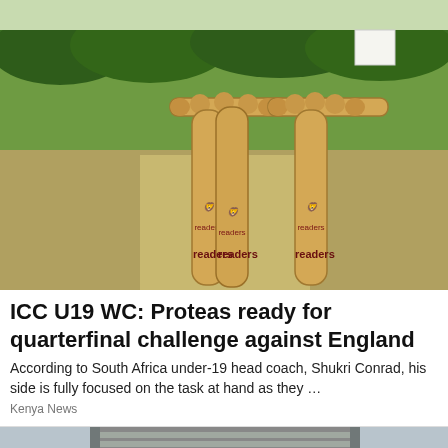[Figure (photo): Cricket wickets (stumps and bails) with 'Readers' brand logos on a grass cricket pitch, green field and white sightscreen in background.]
ICC U19 WC: Proteas ready for quarterfinal challenge against England
According to South Africa under-19 head coach, Shukri Conrad, his side is fully focused on the task at hand as they …
Kenya News
[Figure (photo): Partial view of a multi-story modern building with horizontal banded facade, likely a stock exchange or financial institution building.]